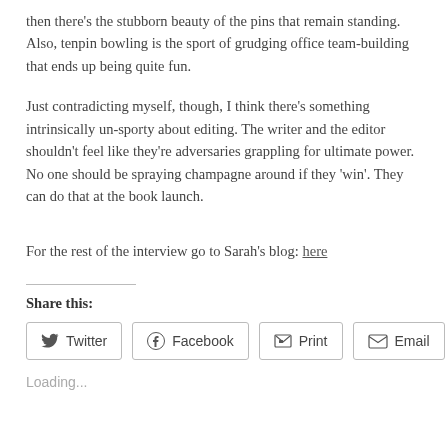then there’s the stubborn beauty of the pins that remain standing. Also, tenpin bowling is the sport of grudging office team-building that ends up being quite fun.
Just contradicting myself, though, I think there’s something intrinsically un-sporty about editing. The writer and the editor shouldn’t feel like they’re adversaries grappling for ultimate power. No one should be spraying champagne around if they ‘win’. They can do that at the book launch.
For the rest of the interview go to Sarah’s blog: here
Share this:
Loading...